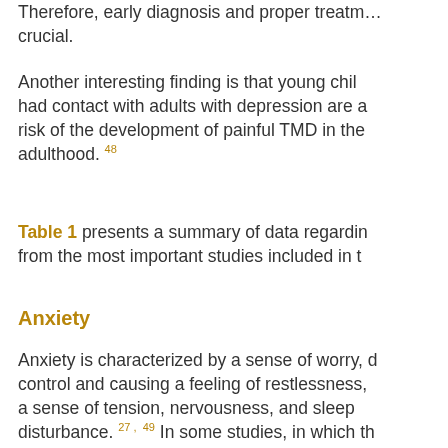Therefore, early diagnosis and proper treatment are crucial.
Another interesting finding is that young children who had contact with adults with depression are at a higher risk of the development of painful TMD in their adulthood.48
Table 1 presents a summary of data regarding from the most important studies included in this review.
Anxiety
Anxiety is characterized by a sense of worry, difficulty to control and causing a feeling of restlessness, a sense of tension, nervousness, and sleep disturbance.27, 49 In some studies, in which the Spielberger State-Trait Anxiety Inventory (STAI) 2 types of anxiety were distinguished: state-anxiety